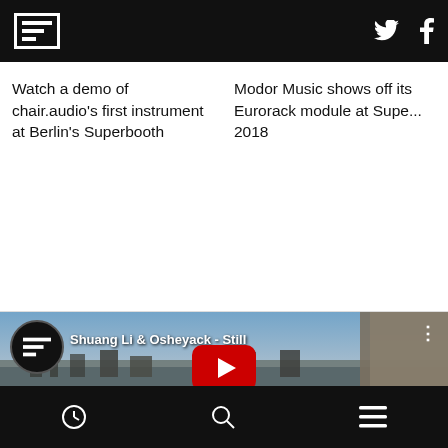F logo, Twitter icon, Facebook icon
Watch a demo of chair.audio's first instrument at Berlin's Superbooth
Modor Music shows off its Eurorack module at Supe... 2018
[Figure (screenshot): YouTube video thumbnail for 'Shuang Li & Osheyack - Still' showing aerial view of Paris with gargoyle statue, play button overlay, subtitle text 'NOW I JUST LIVE THROUGH STOCK IMAGES']
History icon, Search icon, Menu icon